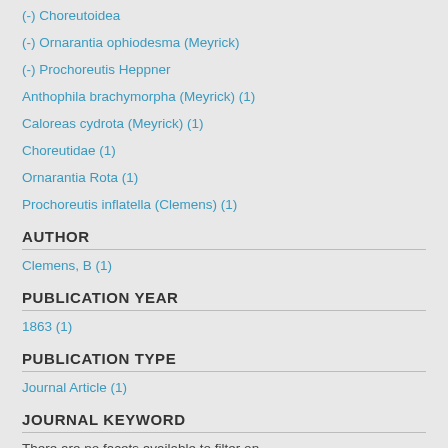(-) Choreutoidea
(-) Ornarantia ophiodesma (Meyrick)
(-) Prochoreutis Heppner
Anthophila brachymorpha (Meyrick) (1)
Caloreas cydrota (Meyrick) (1)
Choreutidae (1)
Ornarantia Rota (1)
Prochoreutis inflatella (Clemens) (1)
AUTHOR
Clemens, B (1)
PUBLICATION YEAR
1863 (1)
PUBLICATION TYPE
Journal Article (1)
JOURNAL KEYWORD
There are no facets available to filter on.
JOURNAL